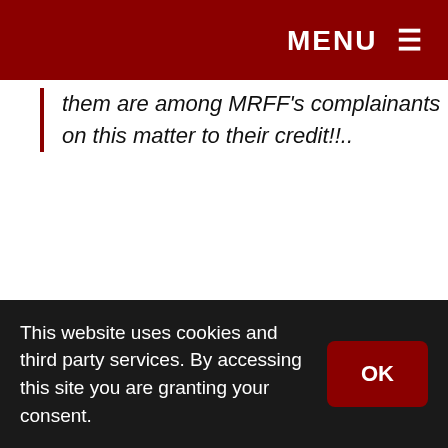MENU ≡
them are among MRFF's complainants on this matter to their credit!!..
To their credit, the Executive Director of the U.S. Army Center of Military History (which falls under TRADOC-U.S. Army Training and Doctrine Command) immediately recognized the significance of this issues and responded:
This website uses cookies and third party services. By accessing this site you are granting your consent.